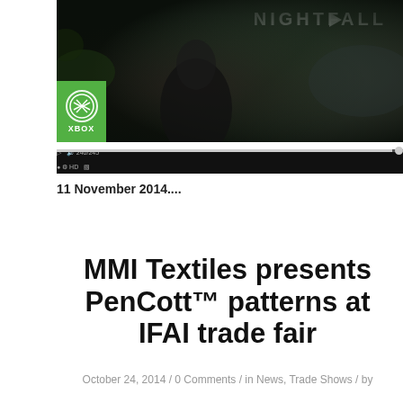[Figure (screenshot): Video player screenshot showing an Xbox Halo Nightfall trailer with play button, Xbox logo in green box, and video controls bar at bottom]
11 November 2014....
MMI Textiles presents PenCott™ patterns at IFAI trade fair
October 24, 2014 / 0 Comments / in News, Trade Shows / by